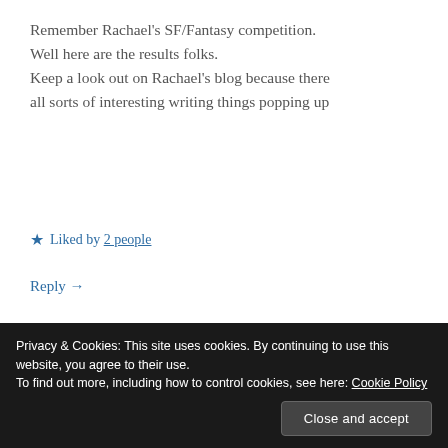Remember Rachael’s SF/Fantasy competition. Well here are the results folks. Keep a look out on Rachael’s blog because there all sorts of interesting writing things popping up
★ Liked by 2 people
Reply →
RACHAEL RITCHEY
May 7, 2018 at 1:57 pm
Privacy & Cookies: This site uses cookies. By continuing to use this website, you agree to their use.
To find out more, including how to control cookies, see here: Cookie Policy
Close and accept